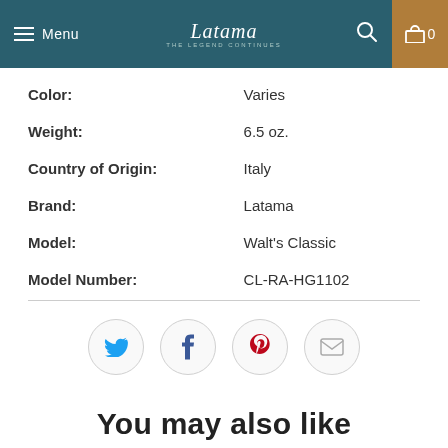Menu | Latama | 0
| Attribute | Value |
| --- | --- |
| Color: | Varies |
| Weight: | 6.5 oz. |
| Country of Origin: | Italy |
| Brand: | Latama |
| Model: | Walt's Classic |
| Model Number: | CL-RA-HG1102 |
[Figure (infographic): Social sharing icons: Twitter (blue bird), Facebook (blue f), Pinterest (red P), Email (envelope) — each inside a light circular button]
You may also like